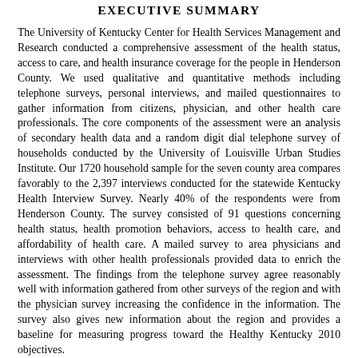EXECUTIVE SUMMARY
The University of Kentucky Center for Health Services Management and Research conducted a comprehensive assessment of the health status, access to care, and health insurance coverage for the people in Henderson County. We used qualitative and quantitative methods including telephone surveys, personal interviews, and mailed questionnaires to gather information from citizens, physician, and other health care professionals. The core components of the assessment were an analysis of secondary health data and a random digit dial telephone survey of households conducted by the University of Louisville Urban Studies Institute. Our 1720 household sample for the seven county area compares favorably to the 2,397 interviews conducted for the statewide Kentucky Health Interview Survey. Nearly 40% of the respondents were from Henderson County. The survey consisted of 91 questions concerning health status, health promotion behaviors, access to health care, and affordability of health care. A mailed survey to area physicians and interviews with other health professionals provided data to enrich the assessment. The findings from the telephone survey agree reasonably well with information gathered from other surveys of the region and with the physician survey increasing the confidence in the information. The survey also gives new information about the region and provides a baseline for measuring progress toward the Healthy Kentucky 2010 objectives.